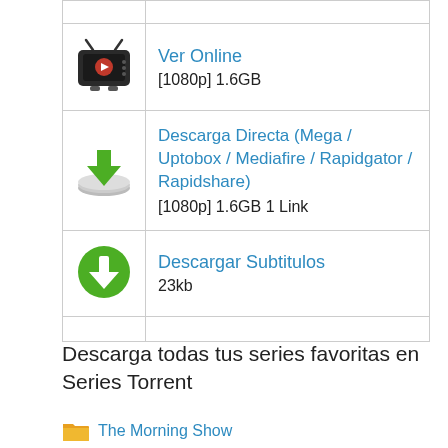| [icon: TV/online] | Ver Online
[1080p] 1.6GB |
| [icon: download/disk] | Descarga Directa (Mega / Uptobox / Mediafire / Rapidgator / Rapidshare)
[1080p] 1.6GB 1 Link |
| [icon: green download] | Descargar Subtitulos
23kb |
|  |  |
Descarga todas tus series favoritas en Series Torrent
The Morning Show